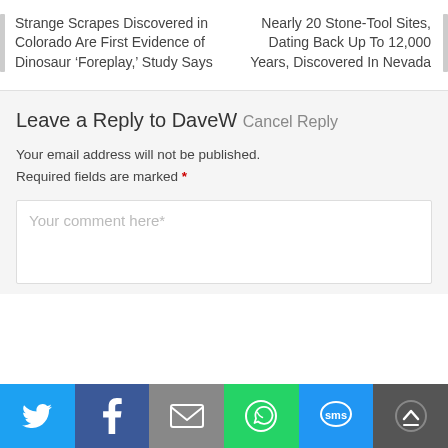Strange Scrapes Discovered in Colorado Are First Evidence of Dinosaur ‘Foreplay,’ Study Says
Nearly 20 Stone-Tool Sites, Dating Back Up To 12,000 Years, Discovered In Nevada
Leave a Reply to DaveW Cancel Reply
Your email address will not be published. Required fields are marked *
[Figure (screenshot): Comment text area with placeholder text 'Your comment here*']
[Figure (infographic): Social sharing bar with Twitter, Facebook, Email, WhatsApp, SMS, and scroll-to-top buttons]